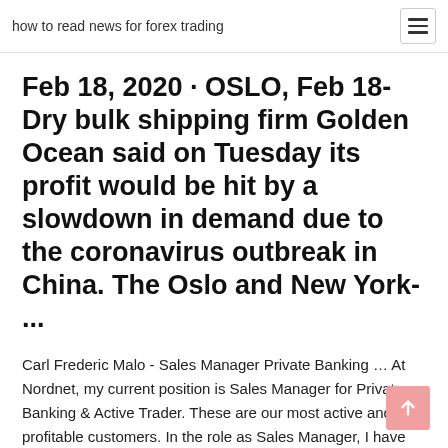how to read news for forex trading
Feb 18, 2020 · OSLO, Feb 18- Dry bulk shipping firm Golden Ocean said on Tuesday its profit would be hit by a slowdown in demand due to the coronavirus outbreak in China. The Oslo and New York- ...
Carl Frederic Malo - Sales Manager Private Banking ... At Nordnet, my current position is Sales Manager for Private Banking & Active Trader. These are our most active and profitable customers. In the role as Sales Manager, I have had a great deal of accomplishes as well as reached and exceeded my sales targets every month. Shiptracker.live The MarineTraffic service makes use of AIS tracking technology to